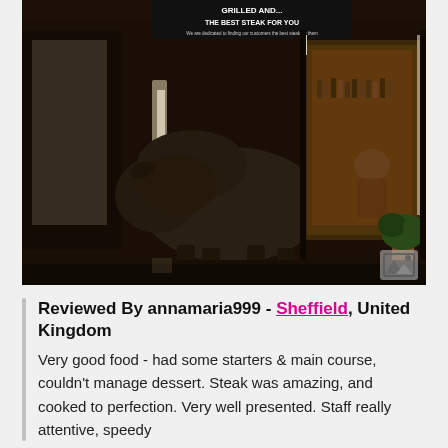[Figure (photo): Nighttime exterior of a steak restaurant with a large bison/buffalo statue outside the entrance. The storefront has warm lighting inside showing bottles and patrons. A potted plant sits near the door. A sign above reads text about steak. A photo icon appears in the bottom-right corner of the image.]
Reviewed By annamaria999 - Sheffield, United Kingdom
Very good food - had some starters & main course, couldn't manage dessert. Steak was amazing, and cooked to perfection. Very well presented. Staff really attentive, speedy